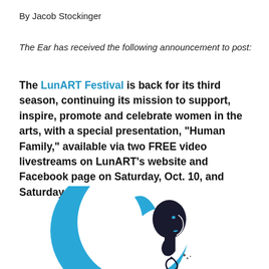By Jacob Stockinger
The Ear has received the following announcement to post:
The LunART Festival is back for its third season, continuing its mission to support, inspire, promote and celebrate women in the arts, with a special presentation, “Human Family,” available via two FREE video livestreams on LunART’s website and Facebook page on Saturday, Oct. 10, and Saturday, Oct. 17, at 7 p.m. CDT.
[Figure (logo): LunART Festival logo — a blue crescent moon shape with a woman's profile silhouette in black/dark, facing right, with a small spiral detail at the chin]